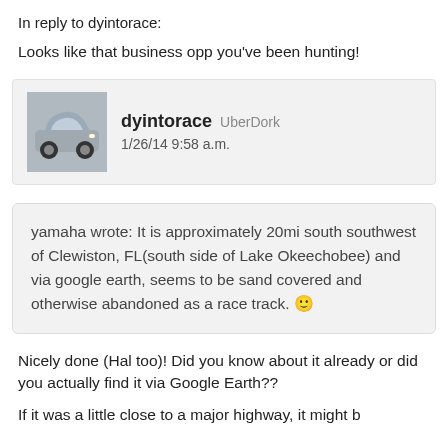In reply to dyintorace:
Looks like that business opp you've been hunting!
dyintorace  UberDork
1/26/14 9:58 a.m.
yamaha wrote: It is approximately 20mi south southwest of Clewiston, FL(south side of Lake Okeechobee) and via google earth, seems to be sand covered and otherwise abandoned as a race track. 🙂
Nicely done (Hal too)! Did you know about it already or did you actually find it via Google Earth??
If it was a little close to a major highway, it might b...